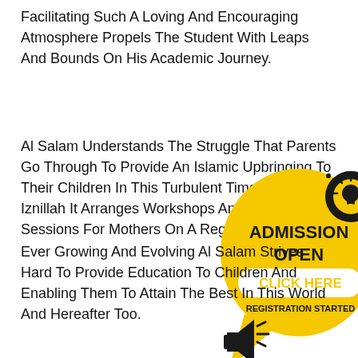Facilitating Such A Loving And Encouraging Atmosphere Propels The Student With Leaps And Bounds On His Academic Journey.
Al Salam Understands The Struggle That Parents Go Through To Provide An Islamic Upbringing To Their Children In This Turbulent Times, Hence Bi Iznillah It Arranges Workshops And Ta Leem Sessions For Mothers On A Regular Basis.
[Figure (infographic): Yellow speech bubble shaped badge with black lightbulb icon, megaphone icon, text ADMISSION OPEN in bold black, CLICK HERE in bold yellow on white oval button, REGISTRATION STARTED in black bold text below]
Ever Growing And Evolving Al Salam Strives Hard To Provide Education To Children And Enabling Them To Attain The Best In This World And Hereafter Too.
May Allah Accept All Our Deeds And Keep Us Rooted On Sirat Al Mustaqeem.